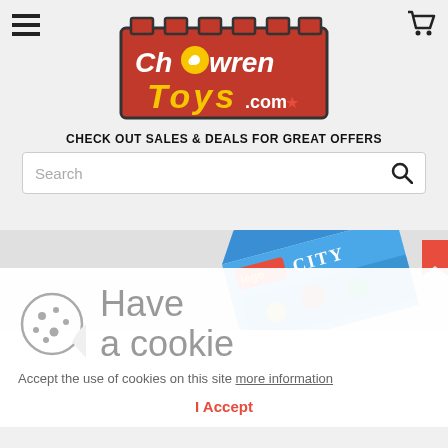Chowren Toys .com — navigation header with hamburger menu and cart icon
[Figure (logo): ChowrenToys.com logo — red brick-styled box with white and yellow text on a red background]
CHECK OUT SALES & DEALS FOR GREAT OFFERS
Search
[Figure (photo): LEGO City box product image partially visible, tilted, in background]
Have a cookie
Accept the use of cookies on this site more information
I Accept